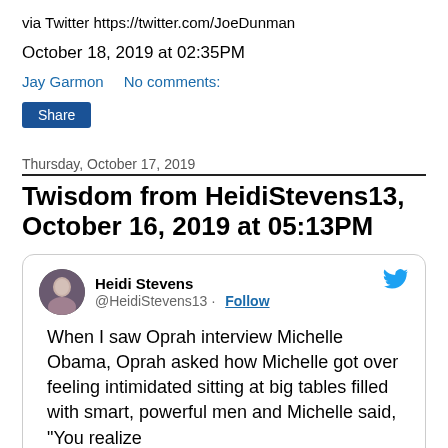via Twitter https://twitter.com/JoeDunman
October 18, 2019 at 02:35PM
Jay Garmon   No comments:
Share
Thursday, October 17, 2019
Twisdom from HeidiStevens13, October 16, 2019 at 05:13PM
[Figure (screenshot): Embedded tweet card from Heidi Stevens (@HeidiStevens13) with Follow button and Twitter bird icon. Tweet text: 'When I saw Oprah interview Michelle Obama, Oprah asked how Michelle got over feeling intimidated sitting at big tables filled with smart, powerful men and Michelle said, "You realize']